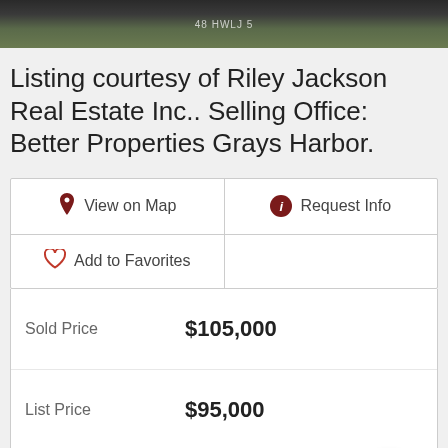[Figure (photo): Partial aerial/ground photo of grassy/natural land area, dark top bar]
Listing courtesy of Riley Jackson Real Estate Inc.. Selling Office: Better Properties Grays Harbor.
| View on Map | Request Info |
| Add to Favorites |  |
| Sold Price | $105,000 |
| List Price | $95,000 |
| Status | SOLD |
| MLS# | 1923959 |